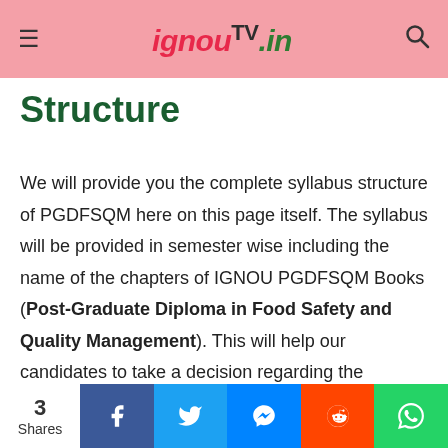ignouTV.in
Structure
We will provide you the complete syllabus structure of PGDFSQM here on this page itself. The syllabus will be provided in semester wise including the name of the chapters of IGNOU PGDFSQM Books (Post-Graduate Diploma in Food Safety and Quality Management). This will help our candidates to take a decision regarding the examination, whether they wanna appear for it or not. It's totally up to them. The name of the subjects with the name of the chapters will help you to choose your
3 Shares | Facebook | Twitter | Messenger | Reddit | WhatsApp